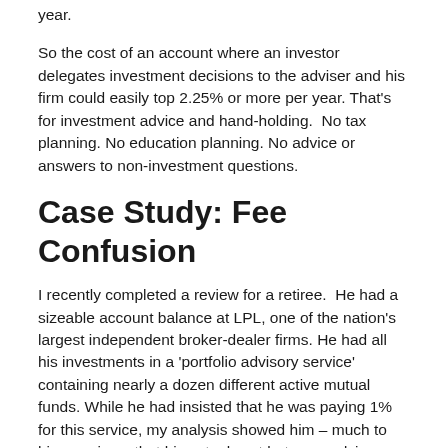year.
So the cost of an account where an investor delegates investment decisions to the adviser and his firm could easily top 2.25% or more per year. That's for investment advice and hand-holding.  No tax planning. No education planning. No advice or answers to non-investment questions.
Case Study: Fee Confusion
I recently completed a review for a retiree.  He had a sizeable account balance at LPL, one of the nation's largest independent broker-dealer firms. He had all his investments in a 'portfolio advisory service' containing nearly a dozen different active mutual funds. While he had insisted that he was paying 1% for this service, my analysis showed him – much to his surprise – that his actual cost between adviser